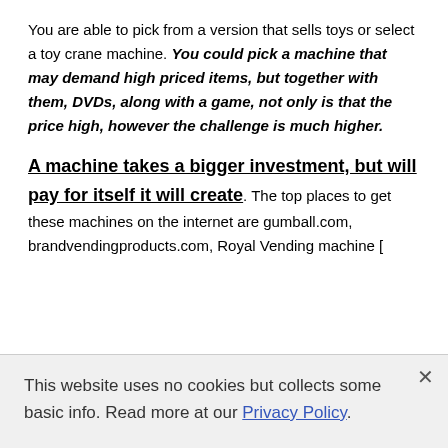You are able to pick from a version that sells toys or select a toy crane machine. You could pick a machine that may demand high priced items, but together with them, DVDs, along with a game, not only is that the price high, however the challenge is much higher.
A machine takes a bigger investment, but will pay for itself it will create. The top places to get these machines on the internet are gumball.com, brandvendingproducts.com, Royal Vending machine [
This website uses no cookies but collects some basic info. Read more at our Privacy Policy.